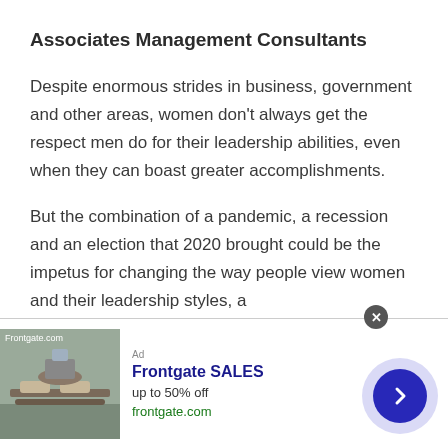Associates Management Consultants
Despite enormous strides in business, government and other areas, women don't always get the respect men do for their leadership abilities, even when they can boast greater accomplishments.
But the combination of a pandemic, a recession and an election that 2020 brought could be the impetus for changing the way people view women and their leadership styles, a
[Figure (other): Advertisement banner for Frontgate SALES showing outdoor furniture image, text 'up to 50% off' and 'frontgate.com', with a blue arrow button on the right.]